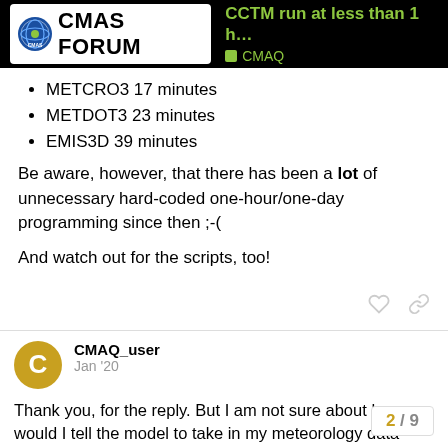CMAS FORUM | CCTM run at less than 1 h… | CMAQ
METCRO3 17 minutes
METDOT3 23 minutes
EMIS3D 39 minutes
Be aware, however, that there has been a lot of unnecessary hard-coded one-hour/one-day programming since then ;-(
And watch out for the scripts, too!
CMAQ_user  Jan '20
Thank you, for the reply. But I am not sure about how would I tell the model to take in my meteorology data ever 15 minutes, in the CCTM run script? Ideally I would like to have model simulation that would take in meterology d… interval but other emission data at 1 hour.